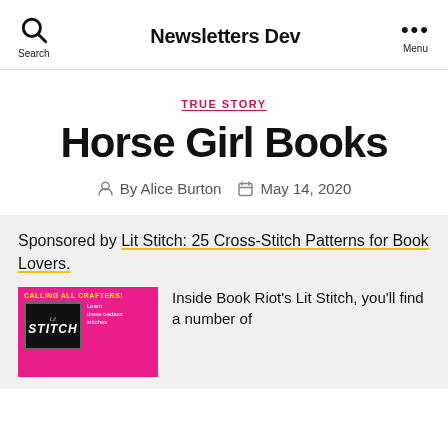Newsletters Dev | Search | Menu
TRUE STORY
Horse Girl Books
By Alice Burton  May 14, 2020
Sponsored by Lit Stitch: 25 Cross-Stitch Patterns for Book Lovers.
[Figure (photo): Book cover for Lit Stitch with pink background and CALLING ALL CRAFTERS! text in yellow]
Inside Book Riot's Lit Stitch, you'll find a number of